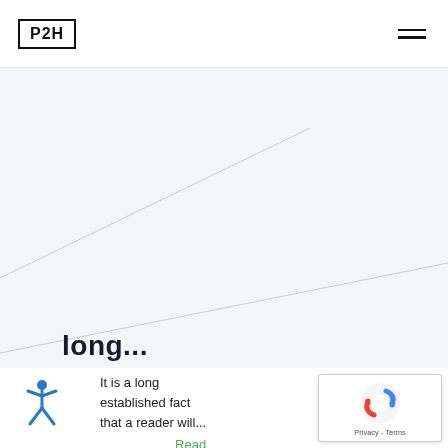P2H
[Figure (illustration): Light grey background area with two diagonal lines crossing from lower-left to upper-right directions, creating a decorative angled graphic effect.]
long...
It is a long established fact that a reader will... 10 minute read Read more